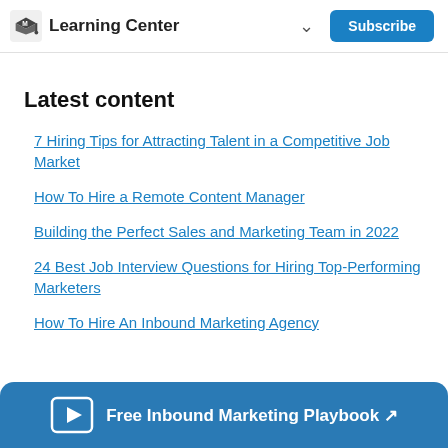Learning Center  Subscribe
Latest content
7 Hiring Tips for Attracting Talent in a Competitive Job Market
How To Hire a Remote Content Manager
Building the Perfect Sales and Marketing Team in 2022
24 Best Job Interview Questions for Hiring Top-Performing Marketers
How To Hire An Inbound Marketing Agency
Free Inbound Marketing Playbook ↗